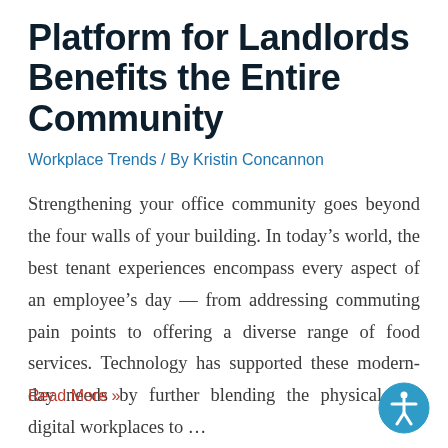Platform for Landlords Benefits the Entire Community
Workplace Trends / By Kristin Concannon
Strengthening your office community goes beyond the four walls of your building. In today’s world, the best tenant experiences encompass every aspect of an employee’s day — from addressing commuting pain points to offering a diverse range of food services. Technology has supported these modern-day needs by further blending the physical and digital workplaces to …
Read More »